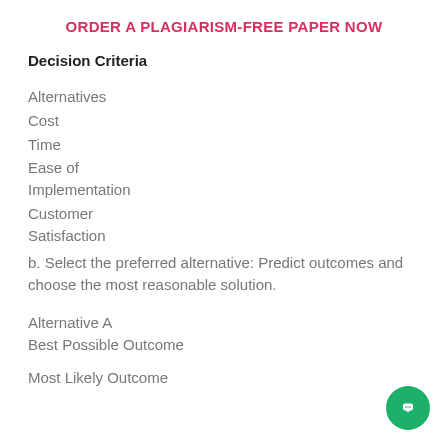ORDER A PLAGIARISM-FREE PAPER NOW
Decision Criteria
Alternatives
Cost
Time
Ease of Implementation
Customer Satisfaction
b. Select the preferred alternative: Predict outcomes and choose the most reasonable solution.
Alternative A
Best Possible Outcome
Most Likely Outcome